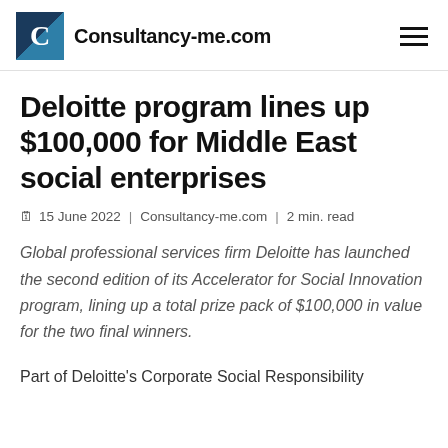Consultancy-me.com
Deloitte program lines up $100,000 for Middle East social enterprises
📅 15 June 2022 | Consultancy-me.com | 2 min. read
Global professional services firm Deloitte has launched the second edition of its Accelerator for Social Innovation program, lining up a total prize pack of $100,000 in value for the two final winners.
Part of Deloitte's Corporate Social Responsibility